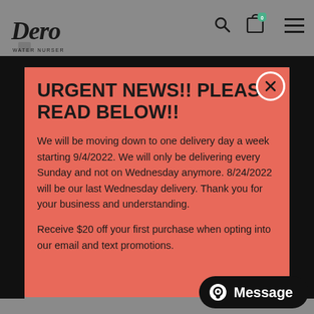[Figure (screenshot): Dero website header with logo, search icon, cart icon with badge '0', and hamburger menu on grey background]
URGENT NEWS!! PLEASE READ BELOW!!
We will be moving down to one delivery day a week starting 9/4/2022. We will only be delivering every Sunday and not on Wednesday anymore. 8/24/2022 will be our last Wednesday delivery. Thank you for your business and understanding.
Receive $20 off your first purchase when opting into our email and text promotions.